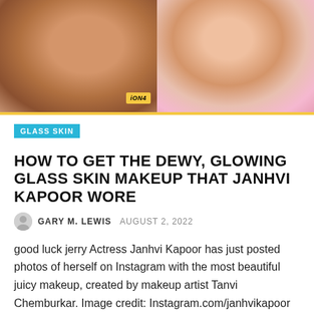[Figure (photo): Side-by-side photos of actress Janhvi Kapoor with glowing glass skin makeup, on pink/warm background with yellow bottom border and iONA logo badge]
GLASS SKIN
HOW TO GET THE DEWY, GLOWING GLASS SKIN MAKEUP THAT JANHVI KAPOOR WORE
GARY M. LEWIS  AUGUST 2, 2022
good luck jerry Actress Janhvi Kapoor has just posted photos of herself on Instagram with the most beautiful juicy makeup, created by makeup artist Tanvi Chemburkar. Image credit: Instagram.com/janhvikapoor All about this dewy glass skin glow, her fresh and luminous beauty look made us want to recreate the same. If you're on the same page ...